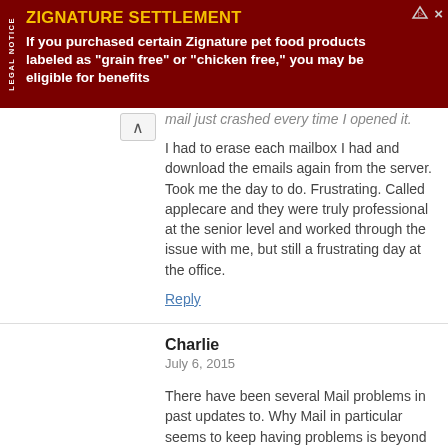[Figure (other): Advertisement banner for Zignature Settlement. Dark red/maroon background with yellow title 'ZIGNATURE SETTLEMENT' and white body text: 'If you purchased certain Zignature pet food products labeled as "grain free" or "chicken free," you may be eligible for benefits'. 'LEGAL NOTICE' text rotated vertically on left side. Navigation icons (triangle and X) on upper right.]
mail just crashed every time I opened it.
I had to erase each mailbox I had and download the emails again from the server. Took me the day to do. Frustrating. Called applecare and they were truly professional at the senior level and worked through the issue with me, but still a frustrating day at the office.
Reply
Charlie
July 6, 2015
There have been several Mail problems in past updates to. Why Mail in particular seems to keep having problems is beyond me and in beta releases, that is one are that should be tested even more. As for me, I am on OS X 10.8.5 on my 2011 iMac and Mail works fine for me. The updates are nice but since everything works for me as is, I am not going to rock the boat. It's a shame things have to be that way. It would be nice if we could just download updates and they just work.